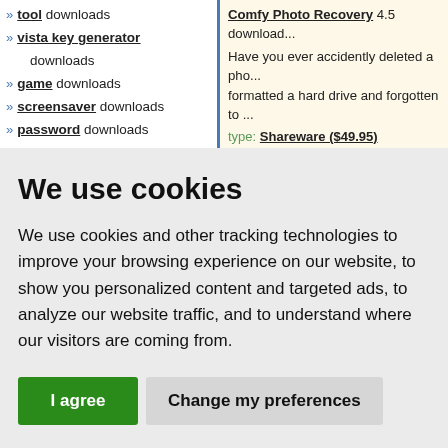» tool downloads
» vista key generator downloads
» game downloads
» screensaver downloads
» password downloads
» desktop downloads
Comfy Photo Recovery 4.5 download...
Have you ever accidently deleted a pho... formatted a hard drive and forgotten to ...
type: Shareware ($49.95)
categories: photo, recovery, restore, i... photography, tool, recover, photos, u...
We use cookies
We use cookies and other tracking technologies to improve your browsing experience on our website, to show you personalized content and targeted ads, to analyze our website traffic, and to understand where our visitors are coming from.
I agree | Change my preferences